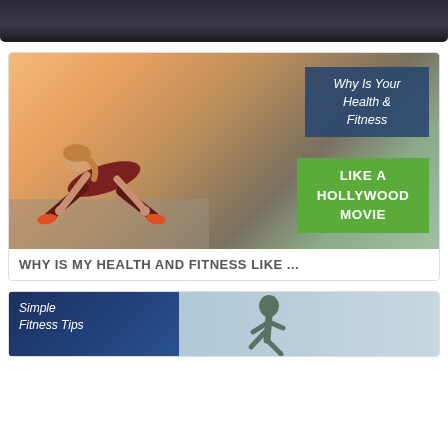[Figure (photo): Dark image strip at top of page, partially visible]
[Figure (photo): Woman in athletic wear doing a plank/push-up position on a road outdoors. Overlaid text boxes: blue box reading 'Why Is Your Health & Fitness' and green box reading 'LIKE A HOLLYWOOD MOVIE']
WHY IS MY HEALTH AND FITNESS LIKE ...
[Figure (photo): Partial image at bottom showing blue background with italic text 'Simple Fitness Tips' on left and a person running on right]